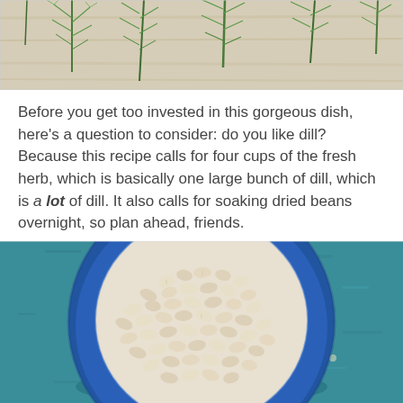[Figure (photo): Top portion of a photo showing fresh dill herb sprigs on a light wooden surface]
Before you get too invested in this gorgeous dish, here's a question to consider: do you like dill? Because this recipe calls for four cups of the fresh herb, which is basically one large bunch of dill, which is a lot of dill. It also calls for soaking dried beans overnight, so plan ahead, friends.
[Figure (photo): Overhead photo of a blue ceramic bowl filled with dried white beans, placed on a teal/turquoise distressed wooden surface]